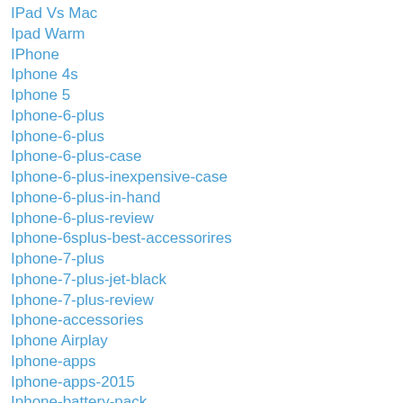IPad Vs Mac
Ipad Warm
IPhone
Iphone 4s
Iphone 5
Iphone-6-plus
Iphone-6-plus
Iphone-6-plus-case
Iphone-6-plus-inexpensive-case
Iphone-6-plus-in-hand
Iphone-6-plus-review
Iphone-6splus-best-accessorires
Iphone-7-plus
Iphone-7-plus-jet-black
Iphone-7-plus-review
Iphone-accessories
Iphone Airplay
Iphone-apps
Iphone-apps-2015
Iphone-battery-pack
Iphone Case